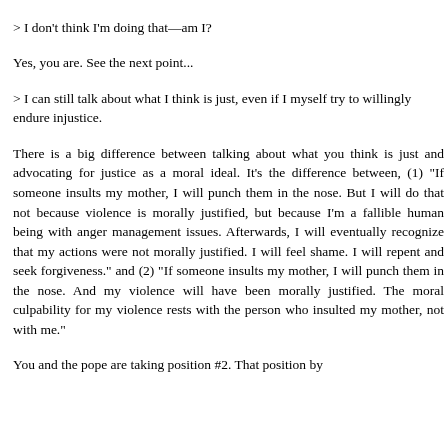to follow a deity who demands that you not seek justice.
> I don't think I'm doing that—am I?
Yes, you are. See the next point...
> I can still talk about what I think is just, even if I myself try to willingly endure injustice.
There is a big difference between talking about what you think is just and advocating for justice as a moral ideal. It's the difference between, (1) "If someone insults my mother, I will punch them in the nose. But I will do that not because violence is morally justified, but because I'm a fallible human being with anger management issues. Afterwards, I will eventually recognize that my actions were not morally justified. I will feel shame. I will repent and seek forgiveness." and (2) "If someone insults my mother, I will punch them in the nose. And my violence will have been morally justified. The moral culpability for my violence rests with the person who insulted my mother, not with me."
You and the pope are taking position #2. That position by